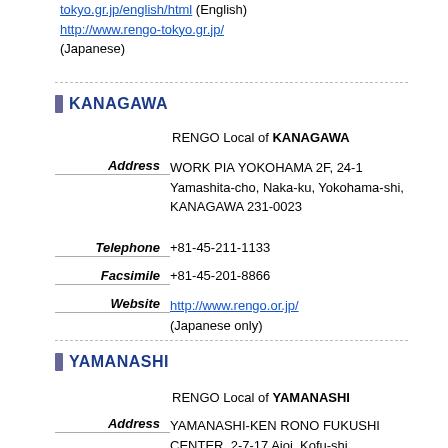tokyo.gr.jp/english/html (English) http://www.rengo-tokyo.gr.jp/ (Japanese)
KANAGAWA
RENGO Local of KANAGAWA
Address: WORK PIA YOKOHAMA 2F, 24-1 Yamashita-cho, Naka-ku, Yokohama-shi, KANAGAWA 231-0023
Telephone: +81-45-211-1133
Facsimile: +81-45-201-8866
Website: http://www.rengo.or.jp/ (Japanese only)
YAMANASHI
RENGO Local of YAMANASHI
Address: YAMANASHI-KEN RONO FUKUSHI CENTER, 2-7-17 Aioi, Kofu-shi, YAMANASHI 400-0858